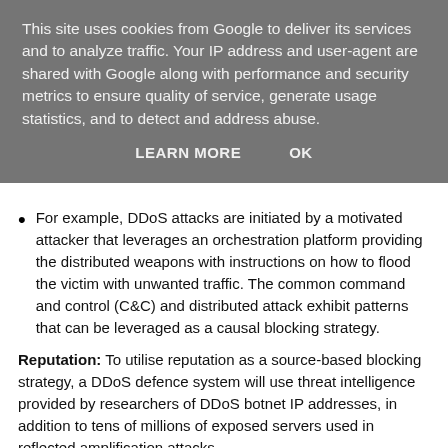This site uses cookies from Google to deliver its services and to analyze traffic. Your IP address and user-agent are shared with Google along with performance and security metrics to ensure quality of service, generate usage statistics, and to detect and address abuse.
LEARN MORE    OK
For example, DDoS attacks are initiated by a motivated attacker that leverages an orchestration platform providing the distributed weapons with instructions on how to flood the victim with unwanted traffic. The common command and control (C&C) and distributed attack exhibit patterns that can be leveraged as a causal blocking strategy.
Reputation: To utilise reputation as a source-based blocking strategy, a DDoS defence system will use threat intelligence provided by researchers of DDoS botnet IP addresses, in addition to tens of millions of exposed servers used in reflected amplification attacks.
They...